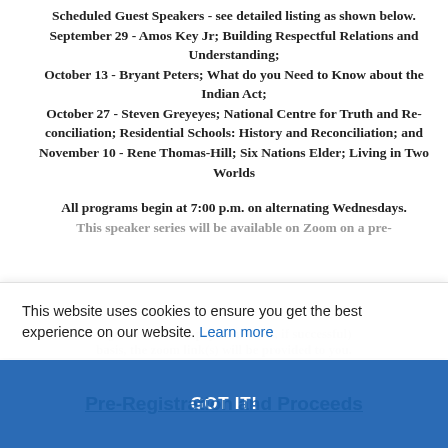Scheduled Guest Speakers - see detailed listing as shown below. September 29 - Amos Key Jr; Building Respectful Relations and Understanding; October 13 - Bryant Peters; What do you Need to Know about the Indian Act; October 27 - Steven Greyeyes; National Centre for Truth and Re-conciliation; Residential Schools: History and Reconciliation; and November 10 - Rene Thomas-Hill; Six Nations Elder; Living in Two Worlds
All programs begin at 7:00 p.m. on alternating Wednesdays. This speaker series will be available on Zoom on a pre-registration (on a payment basis, if successful) basis, the zoom link(s) will be provided to you.
This website uses cookies to ensure you get the best experience on our website. Learn more
GOT IT!
Pre-Registration and Proceeds